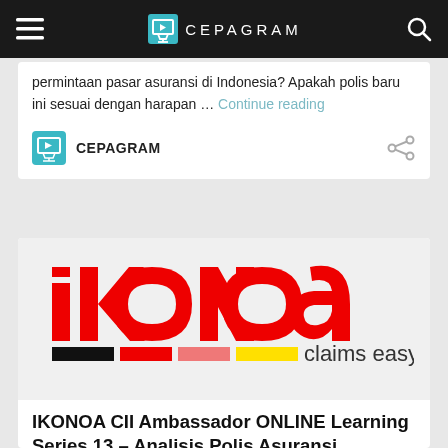CEPAGRAM
permintaan pasar asuransi di Indonesia? Apakah polis baru ini sesuai dengan harapan … Continue reading
CEPAGRAM
[Figure (logo): IKONOA logo in red bold letters with tagline 'claims easy!' and colored bar (black, red, yellow)]
IKONOA CII Ambassador ONLINE Learning Series 13 – Analisis Polis Asuransi